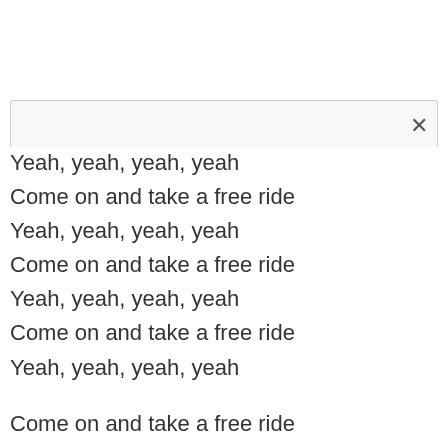Yeah, yeah, yeah, yeah
Come on and take a free ride
Yeah, yeah, yeah, yeah
Come on and take a free ride
Yeah, yeah, yeah, yeah
Come on and take a free ride
Yeah, yeah, yeah, yeah

Come on and take a free ride
Yeah, yeah, yeah, yeah